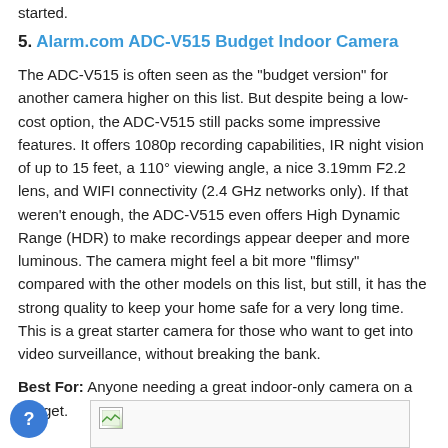started.
5. Alarm.com ADC-V515 Budget Indoor Camera
The ADC-V515 is often seen as the "budget version" for another camera higher on this list. But despite being a low-cost option, the ADC-V515 still packs some impressive features. It offers 1080p recording capabilities, IR night vision of up to 15 feet, a 110° viewing angle, a nice 3.19mm F2.2 lens, and WIFI connectivity (2.4 GHz networks only). If that weren't enough, the ADC-V515 even offers High Dynamic Range (HDR) to make recordings appear deeper and more luminous. The camera might feel a bit more "flimsy" compared with the other models on this list, but still, it has the strong quality to keep your home safe for a very long time. This is a great starter camera for those who want to get into video surveillance, without breaking the bank.
Best For: Anyone needing a great indoor-only camera on a budget.
[Figure (photo): Product image placeholder for Alarm.com ADC-V515 camera]